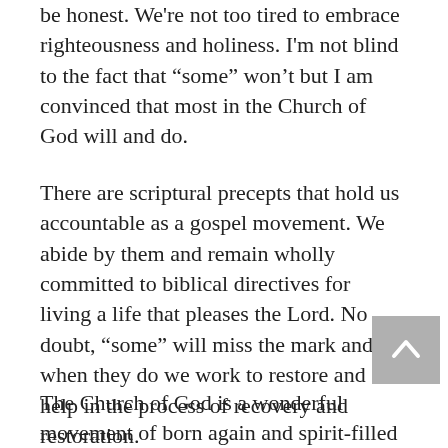be honest. We're not too tired to embrace righteousness and holiness. I'm not blind to the fact that “some” won't but I am convinced that most in the Church of God will and do.
There are scriptural precepts that hold us accountable as a gospel movement. We abide by them and remain wholly committed to biblical directives for living a life that pleases the Lord. No doubt, “some” will miss the mark and when they do we work to restore and help in the process of recovery and restoration.
The Church of God is a wonderful movement of born again and spirit-filled men and women dedicated and